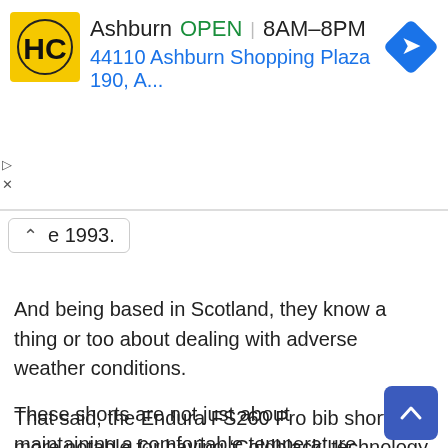[Figure (screenshot): Advertisement banner for Hairclub (HC) Ashburn location showing yellow logo, open status, hours 8AM-8PM, address 44110 Ashburn Shopping Plaza 190 A..., and blue navigation arrow icon]
e 1993.
And being based in Scotland, they know a thing or too about dealing with adverse weather conditions.
That said, the Endura FS260 Pro bib shorts are more notable for having ‘Coldblack’ technology built into the fabric, which purports to dissipate heat in even the most intense direct sunlight. The Endura team must have gone overseas in order to test that one.
These shorts are not just about maintaining a comfortable temperature when riding. The pad is a